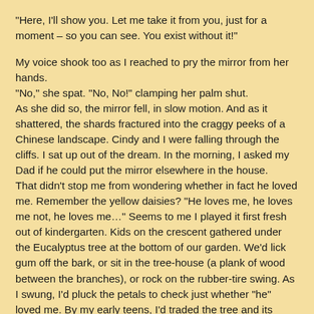"Here, I'll show you. Let me take it from you, just for a moment – so you can see. You exist without it!"

My voice shook too as I reached to pry the mirror from her hands. "No," she spat. "No, No!" clamping her palm shut.
As she did so, the mirror fell, in slow motion. And as it shattered, the shards fractured into the craggy peeks of a Chinese landscape. Cindy and I were falling through the cliffs. I sat up out of the dream. In the morning, I asked my Dad if he could put the mirror elsewhere in the house.
That didn't stop me from wondering whether in fact he loved me. Remember the yellow daisies? "He loves me, he loves me not, he loves me…" Seems to me I played it first fresh out of kindergarten. Kids on the crescent gathered under the Eucalyptus tree at the bottom of our garden. We'd lick gum off the bark, or sit in the tree-house (a plank of wood between the branches), or rock on the rubber-tire swing. As I swung, I'd pluck the petals to check just whether "he" loved me. By my early teens, I'd traded the tree and its sticky gum for lip-gloss, and jeans so tight we'd have to lie down on the bed and have a friend help close the zipper. Not that I knew any "he," mind you. But that didn't stop me from wondering whether in fact he loved me – or not. Through all those